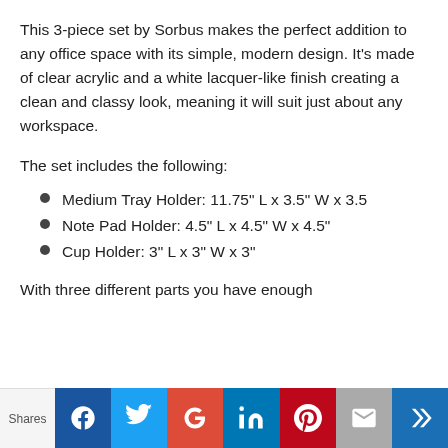This 3-piece set by Sorbus makes the perfect addition to any office space with its simple, modern design. It's made of clear acrylic and a white lacquer-like finish creating a clean and classy look, meaning it will suit just about any workspace.
The set includes the following:
Medium Tray Holder: 11.75" L x 3.5" W x 3.5
Note Pad Holder: 4.5" L x 4.5" W x 4.5"
Cup Holder: 3" L x 3" W x 3"
With three different parts you have enough
Shares | Facebook | Twitter | Google+ | LinkedIn | Pinterest | Email | Crown